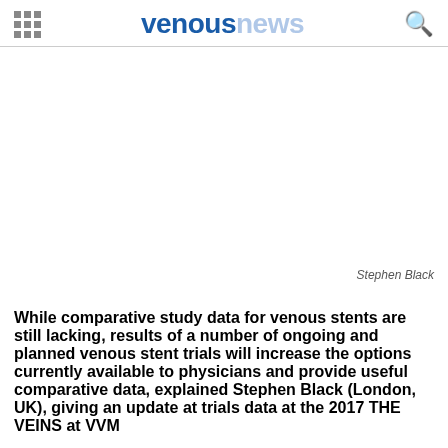venousnews
[Figure (photo): Photo of Stephen Black, a physician associated with venous stent research]
Stephen Black
While comparative study data for venous stents are still lacking, results of a number of ongoing and planned venous stent trials will increase the options currently available to physicians and provide useful comparative data, explained Stephen Black (London, UK), giving an update at trials data at the 2017 THE VEINS at VVM